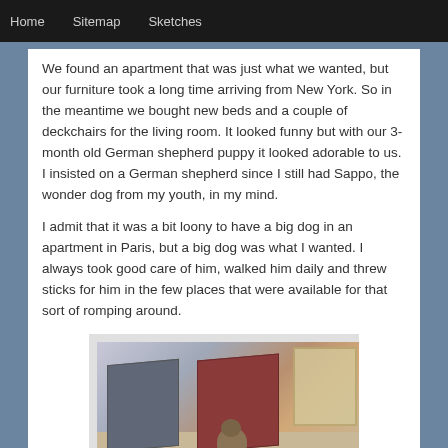Home    Sitemap    Sketches
We found an apartment that was just what we wanted, but our furniture took a long time arriving from New York. So in the meantime we bought new beds and a couple of deckchairs for the living room. It looked funny but with our 3-month old German shepherd puppy it looked adorable to us. I insisted on a German shepherd since I still had Sappo, the wonder dog from my youth, in my mind.
I admit that it was a bit loony to have a big dog in an apartment in Paris, but a big dog was what I wanted. I always took good care of him, walked him daily and threw sticks for him in the few places that were available for that sort of romping around.
[Figure (photo): Photo of two deckchairs (one dark grey/blue, one red/brown) in a living room with a small German shepherd puppy sitting on the floor between them, with a window visible in the background.]